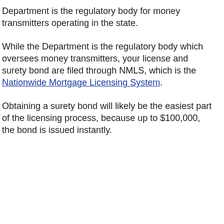Department is the regulatory body for money transmitters operating in the state.
While the Department is the regulatory body which oversees money transmitters, your license and surety bond are filed through NMLS, which is the Nationwide Mortgage Licensing System.
Obtaining a surety bond will likely be the easiest part of the licensing process, because up to $100,000, the bond is issued instantly.